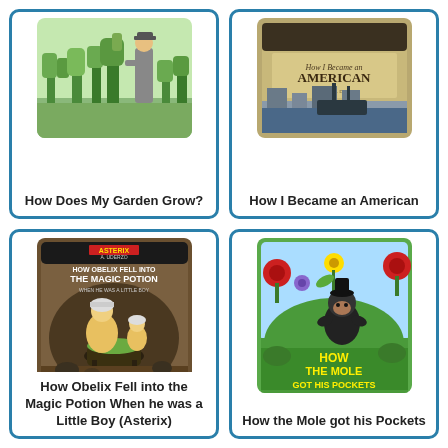[Figure (illustration): Book cover of 'How Does My Garden Grow?' showing a person gardening with plants]
How Does My Garden Grow?
[Figure (illustration): Book cover of 'How I Became an American' with vintage sepia styling]
How I Became an American
[Figure (illustration): Book cover of 'How Obelix Fell into the Magic Potion When he was a Little Boy (Asterix)' by R. Goscinny and A. Uderzo]
How Obelix Fell into the Magic Potion When he was a Little Boy (Asterix)
[Figure (illustration): Book cover of 'How the Mole got his Pockets' with colorful illustration of a mole in a flower field]
How the Mole got his Pockets